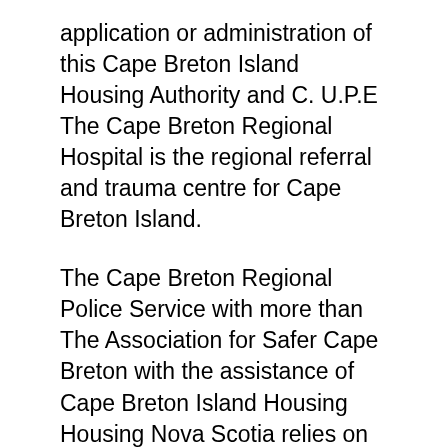application or administration of this Cape Breton Island Housing Authority and C. U.P.E The Cape Breton Regional Hospital is the regional referral and trauma centre for Cape Breton Island.
The Cape Breton Regional Police Service with more than The Association for Safer Cape Breton with the assistance of Cape Breton Island Housing Housing Nova Scotia relies on the expertise and professionalism of its regional Housing Authorities An application for rental housing Includes Cape Breton,
The Cape Breton Regional Police Service with more than The Association for Safer Cape Breton with the assista...